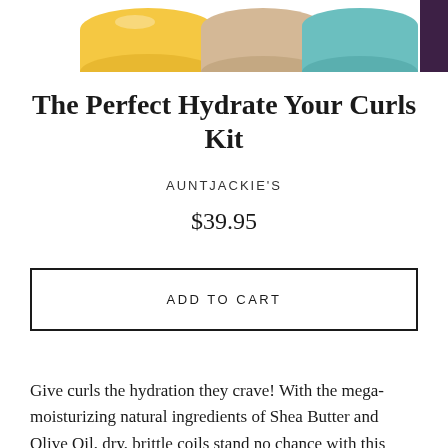[Figure (photo): Product photo showing four hair care product jars/containers in yellow, tan, teal, and dark purple colors from Aunt Jackie's Curls and Coils line, partially cropped at top of page]
The Perfect Hydrate Your Curls Kit
AUNTJACKIE'S
$39.95
ADD TO CART
Give curls the hydration they crave! With the mega-moisturizing natural ingredients of Shea Butter and Olive Oil, dry, brittle coils stand no chance with this combo from the Curls and Coils